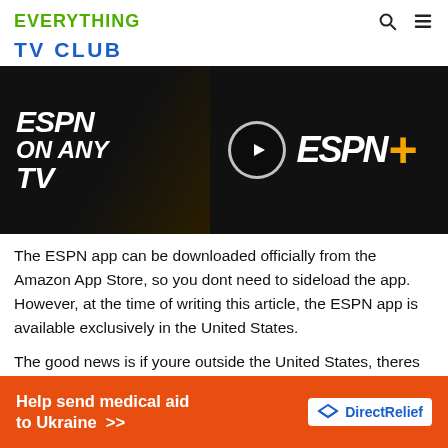EVERYTHING
TV CLUB
[Figure (screenshot): ESPN app promotional image showing 'ESPN ON ANY TV' text on dark background with play button and ESPN+ logo]
The ESPN app can be downloaded officially from the Amazon App Store, so you dont need to sideload the app. However, at the time of writing this article, the ESPN app is available exclusively in the United States.
The good news is if youre outside the United States, theres still a way for you to download and access the app. You can get ESPN+ from anywhere in the world using a trusted VPN
[Figure (infographic): Help send medical aid to Ukraine >> DirectRelief advertisement banner in orange]